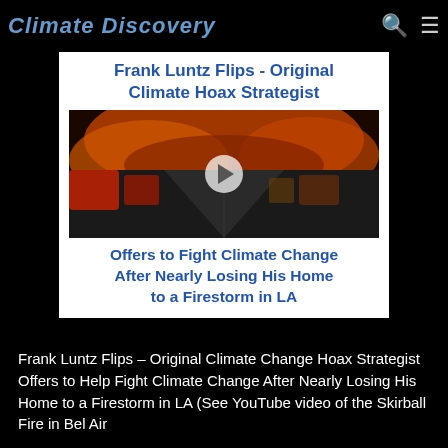Climate Discovery
[Figure (screenshot): Article thumbnail image with headline text 'Frank Luntz Flips - Original Climate Hoax Strategist' at top, a photo of a highway with a wildfire burning on hillsides and cars stopped on the road, and subtitle text 'Offers to Fight Climate Change After Nearly Losing His Home to a Firestorm in LA'. A video play button overlay is visible on the photo.]
Frank Luntz Flips – Original Climate Change Hoax Strategist Offers to Help Fight Climate Change After Nearly Losing His Home to a Firestorm in LA (See YouTube video of the Skirball Fire in Bel Air